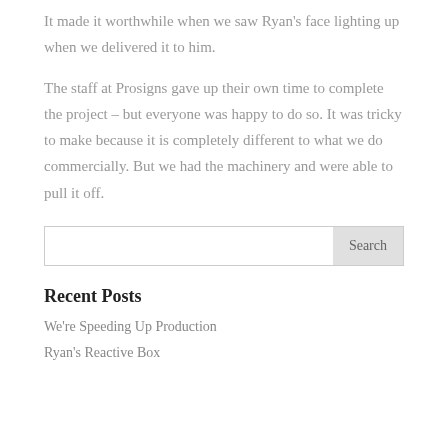It made it worthwhile when we saw Ryan's face lighting up when we delivered it to him.
The staff at Prosigns gave up their own time to complete the project – but everyone was happy to do so. It was tricky to make because it is completely different to what we do commercially. But we had the machinery and were able to pull it off.
Recent Posts
We're Speeding Up Production
Ryan's Reactive Box